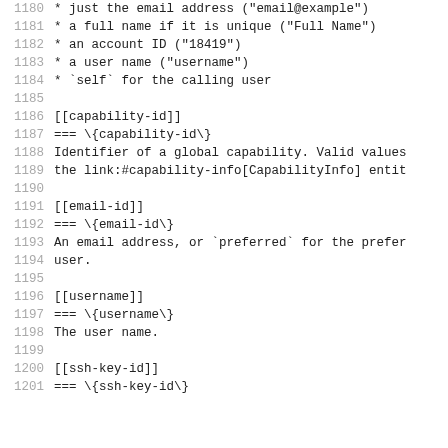1180   * just the email address ("email@example")
1181   * a full name if it is unique ("Full Name")
1182   * an account ID ("18419")
1183   * a user name ("username")
1184   * `self` for the calling user
1185
1186   [[capability-id]]
1187   === \{capability-id\}
1188   Identifier of a global capability. Valid values
1189   the link:#capability-info[CapabilityInfo] entit
1190
1191   [[email-id]]
1192   === \{email-id\}
1193   An email address, or `preferred` for the prefer
1194   user.
1195
1196   [[username]]
1197   === \{username\}
1198   The user name.
1199
1200   [[ssh-key-id]]
1201   === \{ssh-key-id\}